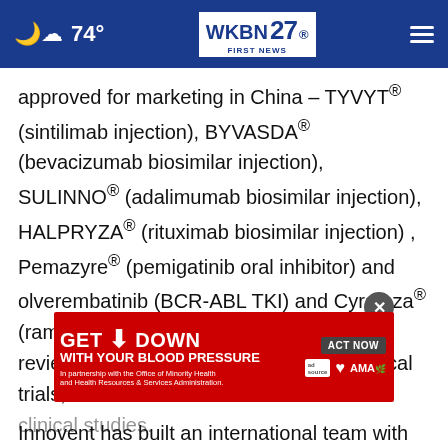74° WKBN FIRST NEWS 27.
approved for marketing in China – TYVYT® (sintilimab injection), BYVASDA® (bevacizumab biosimilar injection), SULINNO® (adalimumab biosimilar injection), HALPRYZA® (rituximab biosimilar injection) , Pemazyre® (pemigatinib oral inhibitor) and olverembatinib (BCR-ABL TKI) and Cyramza® (ramucirumab) , 2 asset under NMPA NDA review, 5 assets in Phase 3 or pivotal clinical trials, and an additional 10 molecules in clinical studies.
[Figure (screenshot): Advertisement banner: GET DOWN WITH YOUR BLOOD PRESSURE – ACT NOW, with ad source, heart association and AMA logos]
Innovent has built an international team with